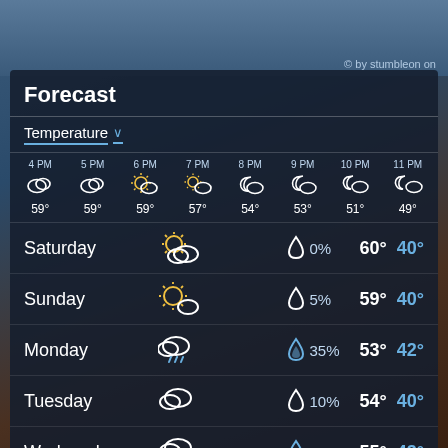© by stumbleon on
Forecast
Temperature ∨
| 4 PM | 5 PM | 6 PM | 7 PM | 8 PM | 9 PM | 10 PM | 11 PM |
| --- | --- | --- | --- | --- | --- | --- | --- |
| 59° | 59° | 59° | 57° | 54° | 53° | 51° | 49° |
| Day | Icon | Precip | High | Low |
| --- | --- | --- | --- | --- |
| Saturday | partly-cloudy-day | 0% | 60° | 40° |
| Sunday | sunny-cloudy | 5% | 59° | 40° |
| Monday | rain-cloud | 35% | 53° | 42° |
| Tuesday | cloudy | 10% | 54° | 40° |
| Wednesday | rain-cloud | 35% | 55° | 43° |
| Thursday | cloudy | 5% | 55° | 42° |
| Friday | cloudy | 0% | 58° | 43° |